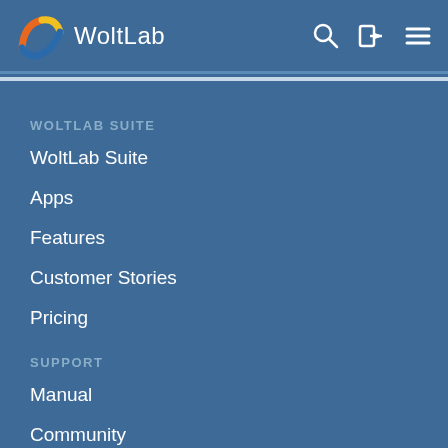WoltLab
WOLTLAB SUITE
WoltLab Suite
Apps
Features
Customer Stories
Pricing
SUPPORT
Manual
Community
Frequently Asked Questions
Developer Documentation